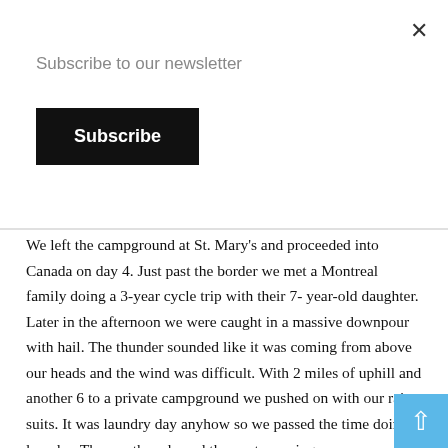Subscribe to our newsletter
Subscribe
We left the campground at St. Mary’s and proceeded into Canada on day 4. Just past the border we met a Montreal family doing a 3-year cycle trip with their 7- year-old daughter. Later in the afternoon we were caught in a massive downpour with hail. The thunder sounded like it was coming from above our heads and the wind was difficult. With 2 miles of uphill and another 6 to a private campground we pushed on with our rain-suits. It was laundry day anyhow so we passed the time doing laundry. The weather cleared the next morning.
Day 5 put us in Blairmore, one of several “towns” that make up the municipality of Crowsnest. Our ride to Blairmore was hot, mostly with headwinds. We resupplied our food in Pincher